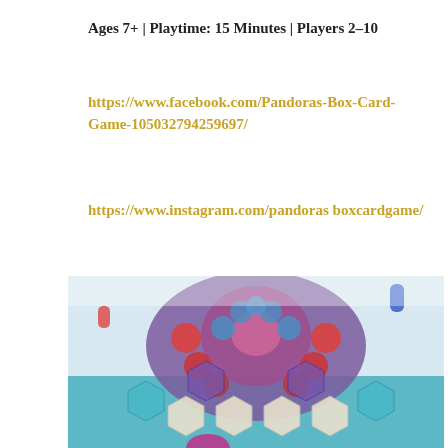Ages 7+ | Playtime: 15 Minutes | Players 2–10
https://www.facebook.com/Pandoras-Box-Card-Game-105032794259697/
https://www.instagram.com/pandorasboxcardgame/
[Figure (photo): Close-up photograph of a colorful hexagonal board game with red, blue, purple, and teal tiles arranged in a mandala-like pattern, with game pieces on top.]